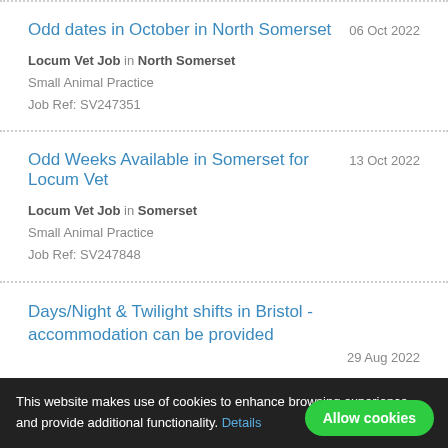Odd dates in October in North Somerset
06 Oct 2022
Locum Vet Job in North Somerset
Small Animal Practice
Job Ref: SV247351
Odd Weeks Available in Somerset for Locum Vet
13 Oct 2022
Locum Vet Job in Somerset
Small Animal Practice
Job Ref: SV247848
Days/Night & Twilight shifts in Bristol - accommodation can be provided
29 Aug 2022
This website makes use of cookies to enhance browsing experience and provide additional functionality. Details